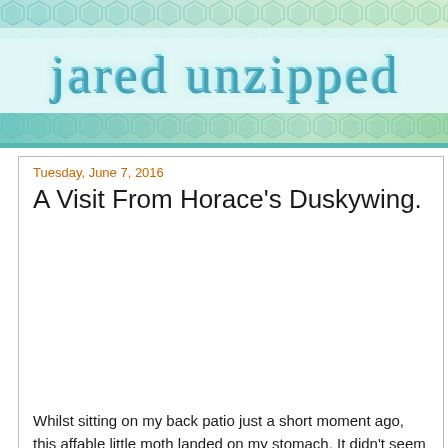jared unzipped
Tuesday, June 7, 2016
A Visit From Horace's Duskywing.
Whilst sitting on my back patio just a short moment ago, this affable little moth landed on my stomach. It didn't seem